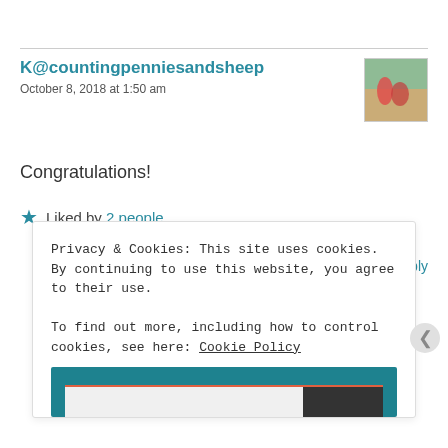K@countingpenniesandsheep
October 8, 2018 at 1:50 am
Congratulations!
★ Liked by 2 people
Reply
Privacy & Cookies: This site uses cookies. By continuing to use this website, you agree to their use.
To find out more, including how to control cookies, see here: Cookie Policy
Close and accept